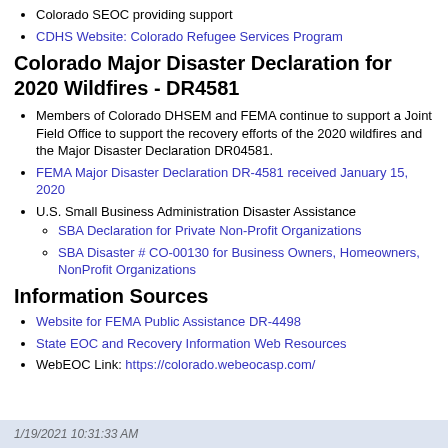Colorado SEOC providing support
CDHS Website: Colorado Refugee Services Program
Colorado Major Disaster Declaration for 2020 Wildfires - DR4581
Members of Colorado DHSEM and FEMA continue to support a Joint Field Office to support the recovery efforts of the 2020 wildfires and the Major Disaster Declaration DR04581.
FEMA Major Disaster Declaration DR-4581 received January 15, 2020
U.S. Small Business Administration Disaster Assistance
SBA Declaration for Private Non-Profit Organizations
SBA Disaster # CO-00130 for Business Owners, Homeowners, NonProfit Organizations
Information Sources
Website for FEMA Public Assistance DR-4498
State EOC and Recovery Information Web Resources
WebEOC Link: https://colorado.webeocasp.com/
1/19/2021 10:31:33 AM